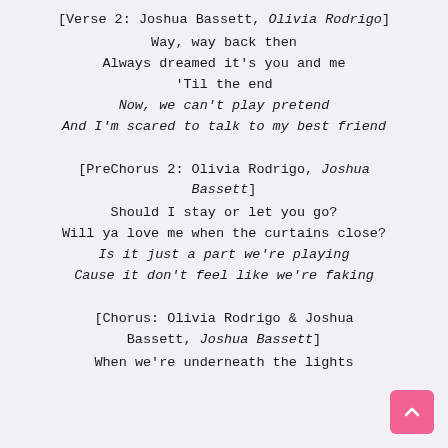[Verse 2: Joshua Bassett, Olivia Rodrigo]
Way, way back then
Always dreamed it's you and me
'Til the end
Now, we can't play pretend
And I'm scared to talk to my best friend
[PreChorus 2: Olivia Rodrigo, Joshua Bassett]
Should I stay or let you go?
Will ya love me when the curtains close?
Is it just a part we're playing
Cause it don't feel like we're faking
[Chorus: Olivia Rodrigo & Joshua Bassett, Joshua Bassett]
When we're underneath the lights